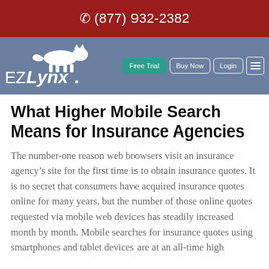(877) 932-2382
[Figure (logo): EZLynx logo with leaping lynx cat silhouette on blue-gray navigation bar, with Free Trial, Buy Now, Login buttons and hamburger menu]
What Higher Mobile Search Means for Insurance Agencies
The number-one reason web browsers visit an insurance agency’s site for the first time is to obtain insurance quotes. It is no secret that consumers have acquired insurance quotes online for many years, but the number of those online quotes requested via mobile web devices has steadily increased month by month. Mobile searches for insurance quotes using smartphones and tablet devices are at an all-time high